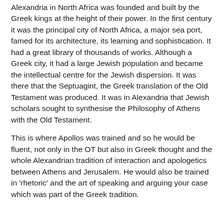Alexandria in North Africa was founded and built by the Greek kings at the height of their power. In the first century it was the principal city of North Africa, a major sea port, famed for its architecture, its learning and sophistication. It had a great library of thousands of works. Although a Greek city, it had a large Jewish population and became the intellectual centre for the Jewish dispersion. It was there that the Septuagint, the Greek translation of the Old Testament was produced. It was in Alexandria that Jewish scholars sought to synthesise the Philosophy of Athens with the Old Testament.
This is where Apollos was trained and so he would be fluent, not only in the OT but also in Greek thought and the whole Alexandrian tradition of interaction and apologetics between Athens and Jerusalem. He would also be trained in 'rhetoric' and the art of speaking and arguing your case which was part of the Greek tradition.